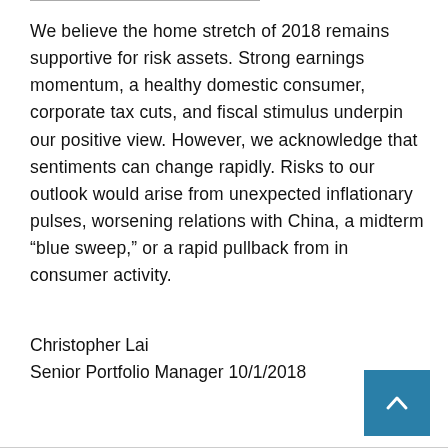We believe the home stretch of 2018 remains supportive for risk assets. Strong earnings momentum, a healthy domestic consumer, corporate tax cuts, and fiscal stimulus underpin our positive view. However, we acknowledge that sentiments can change rapidly. Risks to our outlook would arise from unexpected inflationary pulses, worsening relations with China, a midterm “blue sweep,” or a rapid pullback from in consumer activity.
Christopher Lai
Senior Portfolio Manager 10/1/2018